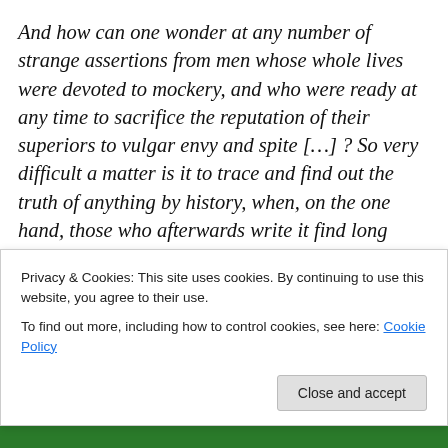And how can one wonder at any number of strange assertions from men whose whole lives were devoted to mockery, and who were ready at any time to sacrifice the reputation of their superiors to vulgar envy and spite […] ? So very difficult a matter is it to trace and find out the truth of anything by history, when, on the one hand, those who afterwards write it find long periods of time intercepting their view, and, on the other hand, the contemporary records of any actions and lives, partly through envy and ill-will, partly through favour and flattery, pervert and distort truth
Privacy & Cookies: This site uses cookies. By continuing to use this website, you agree to their use.
To find out more, including how to control cookies, see here: Cookie Policy